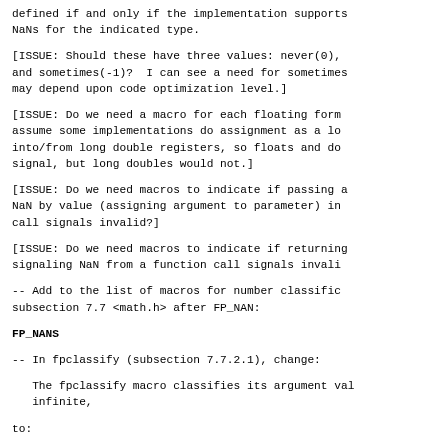defined if and only if the implementation supports NaNs for the indicated type.
[ISSUE: Should these have three values: never(0), and sometimes(-1)?  I can see a need for sometimes may depend upon code optimization level.]
[ISSUE: Do we need a macro for each floating forma assume some implementations do assignment as a loa into/from long double registers, so floats and dou signal, but long doubles would not.]
[ISSUE: Do we need macros to indicate if passing a NaN by value (assigning argument to parameter) in call signals invalid?]
[ISSUE: Do we need macros to indicate if returning signaling NaN from a function call signals invali
-- Add to the list of macros for number classifica subsection 7.7 <math.h> after FP_NAN:
FP_NANS
-- In fpclassify (subsection 7.7.2.1), change:
The fpclassify macro classifies its argument va infinite,
to: